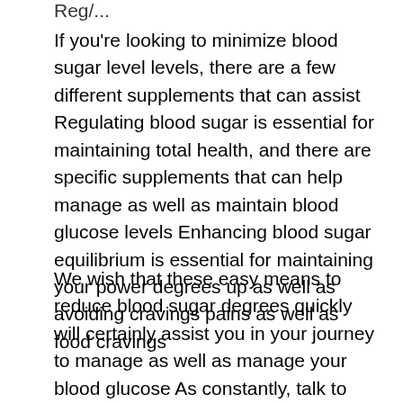Reg/…
If you're looking to minimize blood sugar level levels, there are a few different supplements that can assist Regulating blood sugar is essential for maintaining total health, and there are specific supplements that can help manage as well as maintain blood glucose levels Enhancing blood sugar equilibrium is essential for maintaining your power degrees up as well as avoiding cravings pains as well as food cravings
We wish that these easy means to reduce blood sugar degrees quickly will certainly assist you in your journey to manage as well as manage your blood glucose As constantly, talk to your doctor prior to beginning any